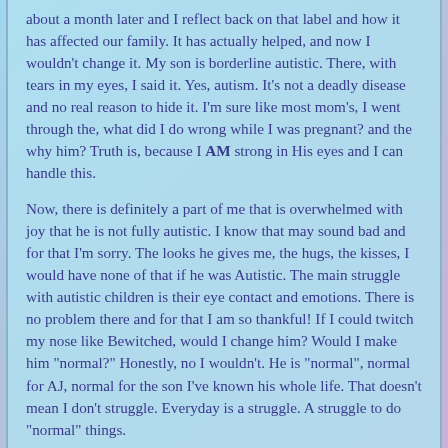about a month later and I reflect back on that label and how it has affected our family.  It has actually helped, and now I wouldn't change it.  My son is borderline autistic.  There, with tears in my eyes, I said it.  Yes, autism.  It's not a deadly disease and no real reason to hide it.  I'm sure like most mom's, I went through the, what did I do wrong while I was pregnant? and the why him?  Truth is, because I AM strong in His eyes and I can handle this.
Now, there is definitely a part of me that is overwhelmed with joy that he is not fully autistic.  I know that may sound bad and for that I'm sorry.  The looks he gives me, the hugs, the kisses, I would have none of that if he was Autistic.  The main struggle with autistic children is their eye contact and emotions.  There is no problem there and for that I am so thankful!  If I could twitch my nose like Bewitched, would I change him?  Would I make him "normal?"  Honestly, no I wouldn't.  He is "normal", normal for AJ, normal for the son I've known his whole life.  That doesn't mean I don't struggle.  Everyday is a struggle.  A struggle to do "normal" things.
I can't alter his schedule or the next three days are really bad